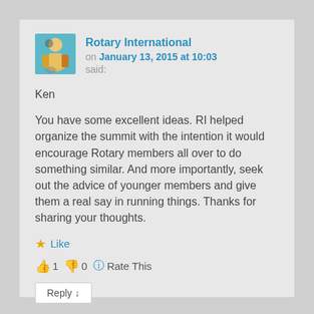Rotary International
on January 13, 2015 at 10:03 said:
Ken

You have some excellent ideas. RI helped organize the summit with the intention it would encourage Rotary members all over to do something similar. And more importantly, seek out the advice of younger members and give them a real say in running things. Thanks for sharing your thoughts.
★ Like
👍 1 👎 0 ℹ Rate This
Reply ↓